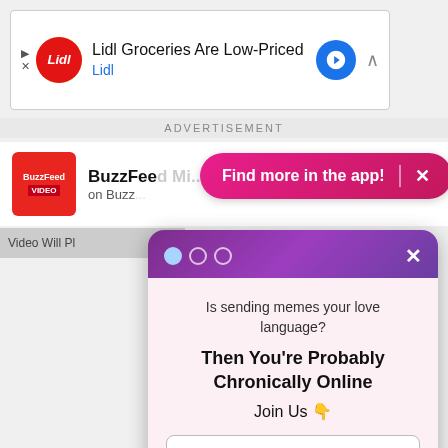[Figure (screenshot): Lidl advertisement banner with logo, text 'Lidl Groceries Are Low-Priced' and 'Lidl', blue navigation arrow icon on right]
ADVERTISEMENT
[Figure (screenshot): BuzzFeed Video logo (red square) and BuzzFeed channel name with 'on Buzz...' subtitle, overlaid by pink 'Find more in the app!' pill button with X]
[Figure (screenshot): Popup modal with purple gradient header with dots navigation and X close button, pink body containing: 'Is sending memes your love language?' text, 'Then You're Probably Chronically Online' bold headline, 'Join Us' with pointing finger emoji, email input field, 'Sign Me Up!' dark blue button, and 'No Thanks' underlined link]
Video Will Pl